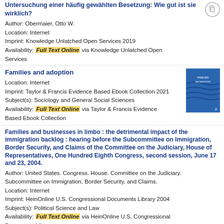Untersuchung einer häufig gewählten Besetzung: Wie gut ist sie wirklich?
Author: Obermaier, Otto W.
Location: Internet
Imprint: Knowledge Unlatched Open Services 2019
Availability: Full Text Online via Knowledge Unlatched Open Services
Families and adoption
Location: Internet
Imprint: Taylor & Francis Evidence Based Ebook Collection 2021
Subject(s): Sociology and General Social Sciences
Availability: Full Text Online via Taylor & Francis Evidence Based Ebook Collection
Families and businesses in limbo : the detrimental impact of the immigration backlog : hearing before the Subcommittee on Immigration, Border Security, and Claims of the Committee on the Judiciary, House of Representatives, One Hundred Eighth Congress, second session, June 17 and 23, 2004.
Author: United States. Congress. House. Committee on the Judiciary. Subcommittee on Immigration, Border Security, and Claims.
Location: Internet
Imprint: HeinOnline U.S. Congressional Documents Library 2004
Subject(s): Political Science and Law
Availability: Full Text Online via HeinOnline U.S. Congressional Documents Library
Families and Food in Hard Times : European comparative research